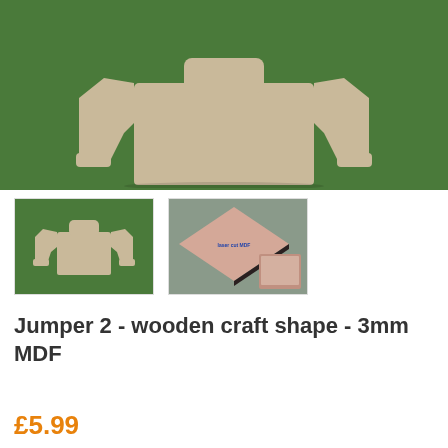[Figure (photo): Main product photo showing a beige/tan MDF jumper-shaped wooden craft cutout on a green background]
[Figure (photo): Thumbnail of the beige MDF jumper craft shape on green background]
[Figure (photo): Thumbnail showing MDF material close-up with a rotated square piece and text 'laser cut MDF']
Jumper 2 - wooden craft shape - 3mm MDF
£5.99